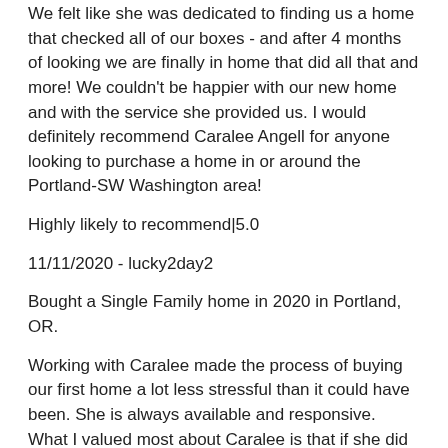We felt like she was dedicated to finding us a home that checked all of our boxes - and after 4 months of looking we are finally in home that did all that and more! We couldn't be happier with our new home and with the service she provided us. I would definitely recommend Caralee Angell for anyone looking to purchase a home in or around the Portland-SW Washington area!
Highly likely to recommend|5.0
11/11/2020 - lucky2day2
Bought a Single Family home in 2020 in Portland, OR.
Working with Caralee made the process of buying our first home a lot less stressful than it could have been. She is always available and responsive. What I valued most about Caralee is that if she did not know the answer she would find it and she never told us something couldn't be done without a sensible or reasonable explanation. She is also always on time. She answered our questions in a timely manner and gave sound and professional advice in ways to deal with issues to the lender, seller, and/or title company. I would recommend her to my mom. That's how great our experience was.